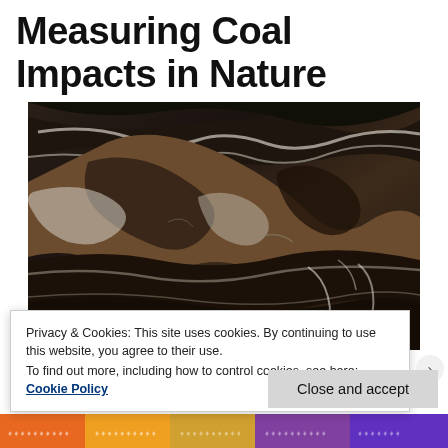Measuring Coal Impacts in Nature
[Figure (photo): Close-up photograph of a coal seam or rock face showing dark black coal layered with brown and white mineral streaks and swirling patterns]
Privacy & Cookies: This site uses cookies. By continuing to use this website, you agree to their use.
To find out more, including how to control cookies, see here: Cookie Policy
Close and accept
[Figure (photo): Partial view of a colorful decorative image at bottom of page with orange, purple and multicolored patterns]